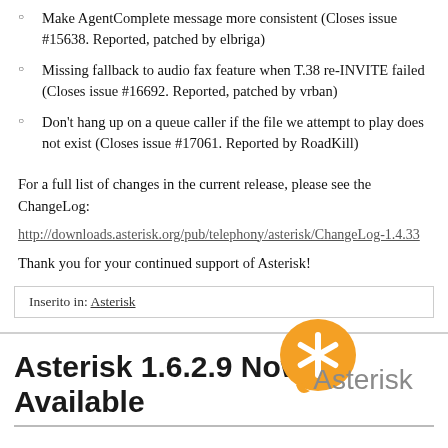Make AgentComplete message more consistent (Closes issue #15638. Reported, patched by elbriga)
Missing fallback to audio fax feature when T.38 re-INVITE failed (Closes issue #16692. Reported, patched by vrban)
Don't hang up on a queue caller if the file we attempt to play does not exist (Closes issue #17061. Reported by RoadKill)
For a full list of changes in the current release, please see the ChangeLog:
http://downloads.asterisk.org/pub/telephony/asterisk/ChangeLog-1.4.33
Thank you for your continued support of Asterisk!
Inserito in: Asterisk
Asterisk 1.6.2.9 Now Available
[Figure (logo): Asterisk logo: orange circle with asterisk symbol in white, with grey 'Asterisk' text below]